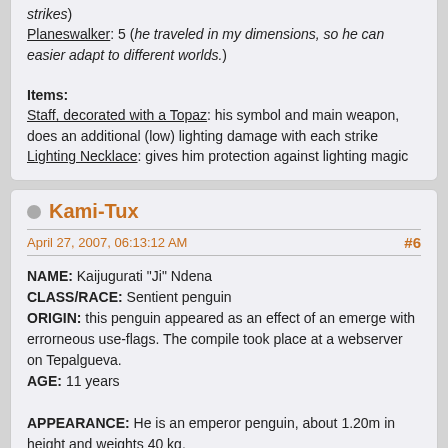strikes)
Planeswalker: 5 (he traveled in my dimensions, so he can easier adapt to different worlds.)
Items:
Staff, decorated with a Topaz: his symbol and main weapon, does an additional (low) lighting damage with each strike
Lighting Necklace: gives him protection against lighting magic
Kami-Tux
April 27, 2007, 06:13:12 AM
#6
NAME: Kaijugurati "Ji" Ndena
CLASS/RACE: Sentient penguin
ORIGIN: this penguin appeared as an effect of an emerge with errorneous use-flags. The compile took place at a webserver on Tepalgueva.
AGE: 11 years
APPEARANCE: He is an emperor penguin, about 1.20m in height and weights 40 kg.